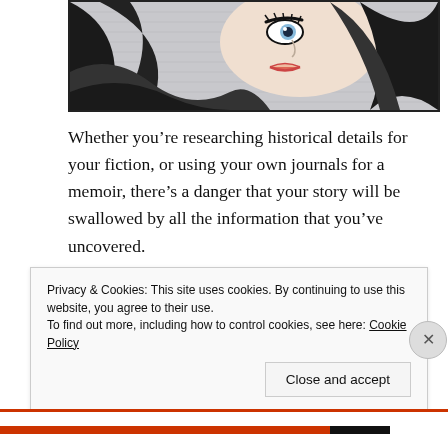[Figure (illustration): Comic-style illustration at top, showing a stylized woman's face with flowing hair in black, white, and muted colors, Roy Lichtenstein-like pop art style.]
Whether you’re researching historical details for your fiction, or using your own journals for a memoir, there’s a danger that your story will be swallowed by all the information that you’ve uncovered.
It’s exciting to discover or remember the world you’re writing about, but our job as writers is to figure out which of the multitudinous details we find are the perfect fit for our story.
Privacy & Cookies: This site uses cookies. By continuing to use this website, you agree to their use.
To find out more, including how to control cookies, see here: Cookie Policy